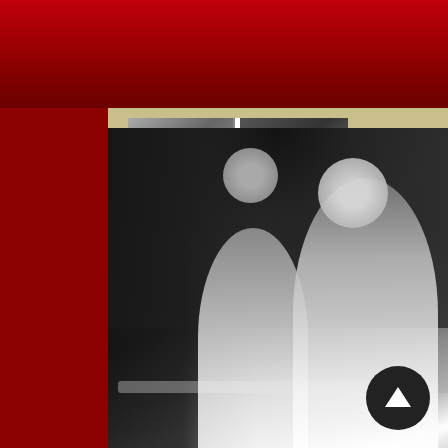[Figure (screenshot): Mobile app interface with dark red top navigation bar containing hamburger menu on left and four icon buttons (search, camera, info, globe) on right. Below is a tan/khaki content area showing a small newspaper clipping with two photos and caption text at top, and a large black and white photograph of two people (appears to be two women) seated outdoors. Left sidebar is dark red. Bottom right has an up-arrow circular button.]